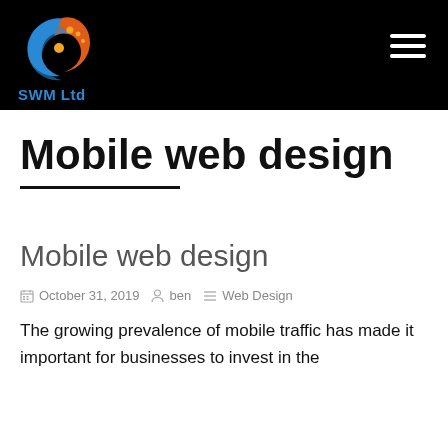[Figure (logo): SWM Ltd logo: blue and orange swirl/yin-yang style icon with dots, above the text 'SWM Ltd' in blue]
Mobile web design
Mobile web design
October 31, 2019   ben   Web Design
The growing prevalence of mobile traffic has made it important for businesses to invest in the